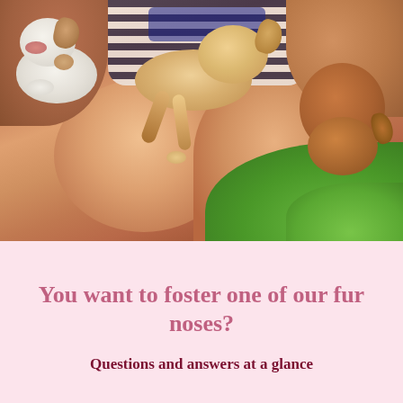[Figure (photo): A person sitting outdoors on grass holding multiple small puppies — a white and brown puppy on the left arm, a tan/cream puppy crawling across the lap in the center, and a brown puppy on the right. The person is wearing a striped shirt. Green grass is visible in the background.]
You want to foster one of our fur noses?
Questions and answers at a glance